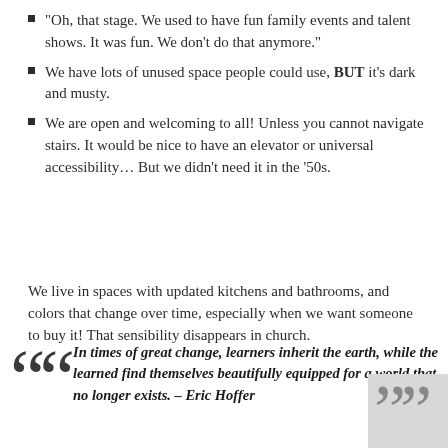“Oh, that stage. We used to have fun family events and talent shows. It was fun. We don’t do that anymore.”
We have lots of unused space people could use, BUT it’s dark and musty.
We are open and welcoming to all! Unless you cannot navigate stairs. It would be nice to have an elevator or universal accessibility… But we didn’t need it in the ’50s.
We live in spaces with updated kitchens and bathrooms, and colors that change over time, especially when we want someone to buy it! That sensibility disappears in church.
In times of great change, learners inherit the earth, while the learned find themselves beautifully equipped for a world that no longer exists. – Eric Hoffer